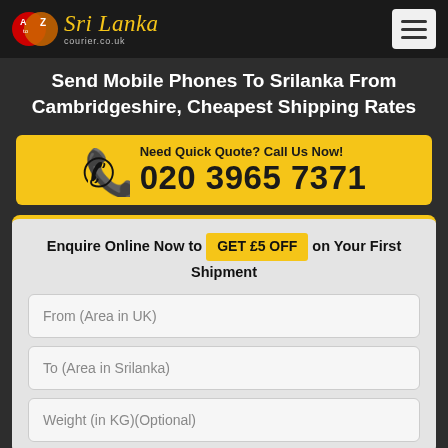A to Z Sri Lanka courier.co.uk
Send Mobile Phones To Srilanka From Cambridgeshire, Cheapest Shipping Rates
Need Quick Quote? Call Us Now! 020 3965 7371
Enquire Online Now to GET £5 OFF on Your First Shipment
From (Area in UK)
To (Area in Srilanka)
Weight (in KG)(Optional)